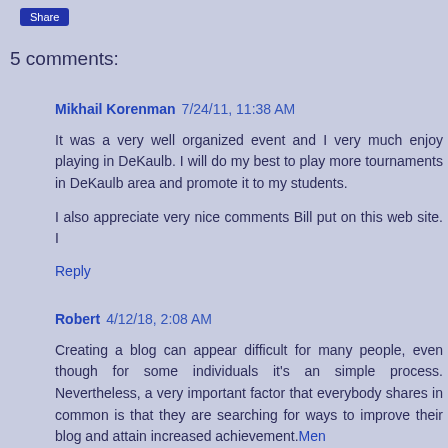Share
5 comments:
Mikhail Korenman 7/24/11, 11:38 AM

It was a very well organized event and I very much enjoy playing in DeKaulb. I will do my best to play more tournaments in DeKaulb area and promote it to my students.

I also appreciate very nice comments Bill put on this web site. I

Reply
Robert 4/12/18, 2:08 AM

Creating a blog can appear difficult for many people, even though for some individuals it's an simple process. Nevertheless, a very important factor that everybody shares in common is that they are searching for ways to improve their blog and attain increased achievement. Men